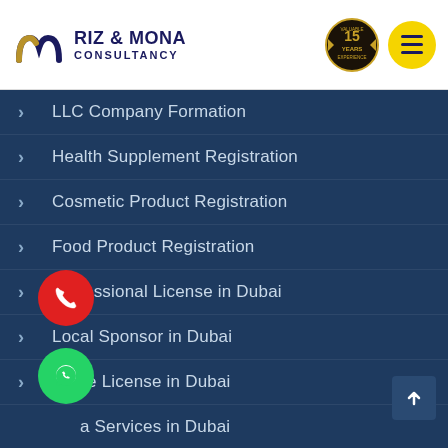[Figure (logo): Riz & Mona Consultancy logo with stylized R and M icon in navy and gold, text reading RIZ & MONA CONSULTANCY]
[Figure (logo): 15 Years Valuable Experience badge/seal in gold and black]
[Figure (other): Yellow circle menu button with three navy horizontal lines (hamburger menu)]
LLC Company Formation
Health Supplement Registration
Cosmetic Product Registration
Food Product Registration
Professional License in Dubai
Local Sponsor in Dubai
Trade License in Dubai
a Services in Dubai
Home